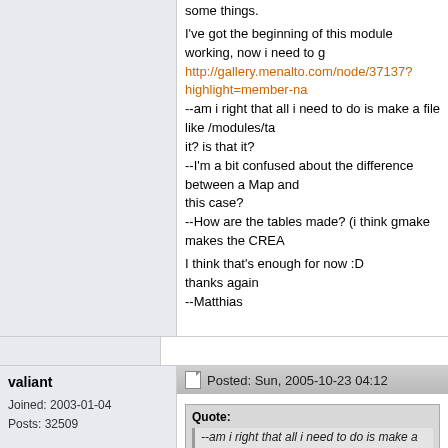I've got the beginning of this module working, now i need to g
http://gallery.menalto.com/node/37137?highlight=member-na
--am i right that all i need to do is make a file like /modules/ta
it? is that it?
--I'm a bit confused about the difference between a Map and
this case?
--How are the tables made? (i think gmake makes the CREA

I think that's enough for now :D
thanks again
--Matthias
valiant

Joined: 2003-01-04
Posts: 32509
Posted: Sun, 2005-10-23 04:12
Quote:
--am i right that all i need to do is make a file like /
another module, and make it? is that it?
yes. you need to change the xml instructions in the Tag.class
these are all comment lines that start with @g2, e.g.
* @g2 <class-name>GalleryItem</class-name>
* @g2 <parent-class-name>GalleryFileSystemEntity</parent
* @g2 <schema>
* @g2 <schema-major>1</schema-major>
* @g2 <schema-minor>...</schema-minor>